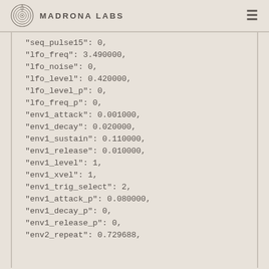Madrona Labs
"seq_pulse15": 0,
"lfo_freq": 3.490000,
"lfo_noise": 0,
"lfo_level": 0.420000,
"lfo_level_p": 0,
"lfo_freq_p": 0,
"env1_attack": 0.001000,
"env1_decay": 0.020000,
"env1_sustain": 0.110000,
"env1_release": 0.010000,
"env1_level": 1,
"env1_xvel": 1,
"env1_trig_select": 2,
"env1_attack_p": 0.080000,
"env1_decay_p": 0,
"env1_release_p": 0,
"env2_repeat": 0.729688,